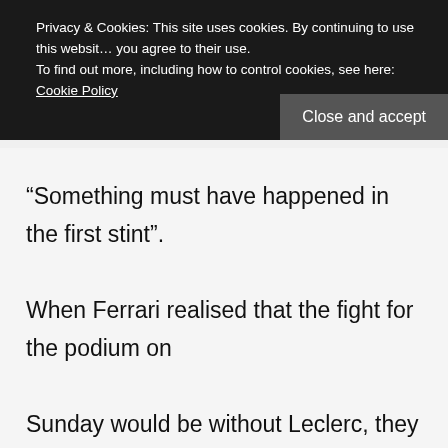Privacy & Cookies: This site uses cookies. By continuing to use this website, you agree to their use. To find out more, including how to control cookies, see here: Cookie Policy
Close and accept
“Something must have happened in the first stint”. When Ferrari realised that the fight for the podium on Sunday would be without Leclerc, they brought the Monegasque into the pits for a second stop and sent